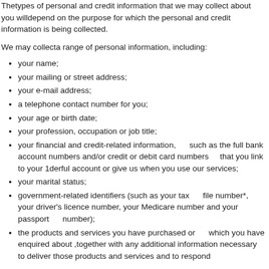Thetypes of personal and credit information that we may collect about you willdepend on the purpose for which the personal and credit information is being collected.
We may collecta range of personal information, including:
your name;
your mailing or street address;
your e-mail address;
a telephone contact number for you;
your age or birth date;
your profession, occupation or job title;
your financial and credit-related information,      such as the full bank account numbers and/or credit or debit card numbers     that you link to your 1derful account or give us when you use our services;
your marital status;
government-related identifiers (such as your tax      file number*, your driver's licence number, your Medicare number and your passport      number);
the products and services you have purchased or      which you have enquired about ,together with any additional information necessary to deliver those products and services and to respond